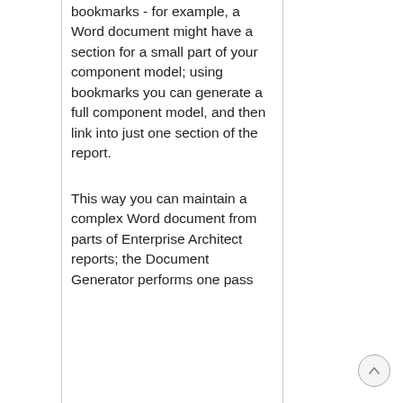bookmarks - for example, a Word document might have a section for a small part of your component model; using bookmarks you can generate a full component model, and then link into just one section of the report.
This way you can maintain a complex Word document from parts of Enterprise Architect reports; the Document Generator performs one pass